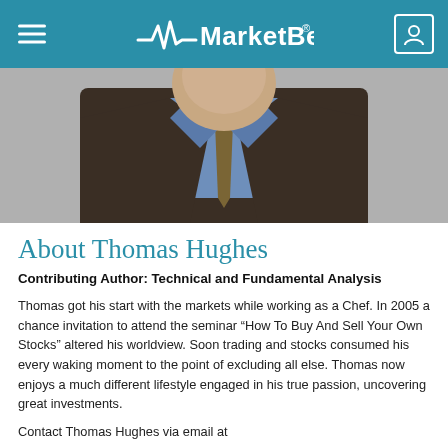MarketBeat
[Figure (photo): Professional headshot of Thomas Hughes, a man in a dark brown suit jacket, blue dress shirt, and patterned tie, photographed from the chest up against a neutral background.]
About Thomas Hughes
Contributing Author: Technical and Fundamental Analysis
Thomas got his start with the markets while working as a Chef. In 2005 a chance invitation to attend the seminar “How To Buy And Sell Your Own Stocks” altered his worldview. Soon trading and stocks consumed his every waking moment to the point of excluding all else. Thomas now enjoys a much different lifestyle engaged in his true passion, uncovering great investments.
Contact Thomas Hughes via email at